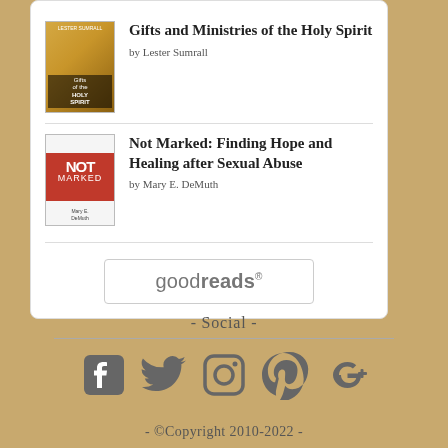[Figure (other): Book listing card with two books and Goodreads button. Book 1: 'Gifts and Ministries of the Holy Spirit' by Lester Sumrall. Book 2: 'Not Marked: Finding Hope and Healing after Sexual Abuse' by Mary E. DeMuth. Goodreads button at bottom of card.]
- Social -
[Figure (infographic): Social media icons: Facebook, Twitter, Instagram, Pinterest, Google+]
- ©Copyright 2010-2022 -